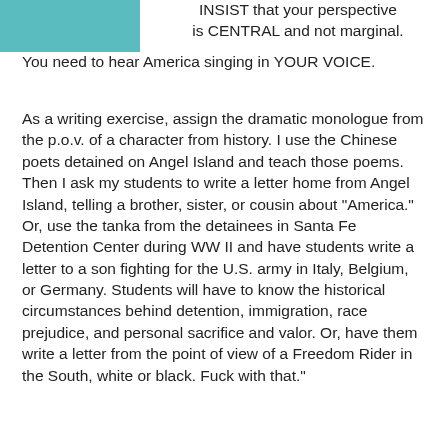[Figure (photo): Partial image of a teal/turquoise colored photo or graphic in the top-left corner]
INSIST that your perspective is CENTRAL and not marginal. You need to hear America singing in YOUR VOICE.
As a writing exercise, assign the dramatic monologue from the p.o.v. of a character from history. I use the Chinese poets detained on Angel Island and teach those poems. Then I ask my students to write a letter home from Angel Island, telling a brother, sister, or cousin about "America." Or, use the tanka from the detainees in Santa Fe Detention Center during WW II and have students write a letter to a son fighting for the U.S. army in Italy, Belgium, or Germany. Students will have to know the historical circumstances behind detention, immigration, race prejudice, and personal sacrifice and valor. Or, have them write a letter from the point of view of a Freedom Rider in the South, white or black. Fuck with that."